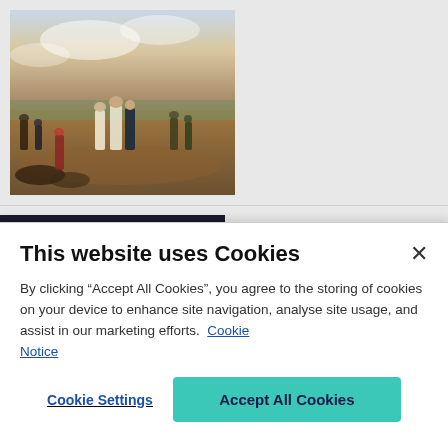[Figure (photo): Historical painting depicting a Napoleonic-era battlefield scene with soldiers and officers in period military uniforms, landscape with sky in background]
[Figure (photo): Book cover for 'Why America Loses Wars' — dark navy background with gold text 'REVISED AND UPDATED' and large white bold text 'WHY']
Why America Loses Wars
Limited War and US Strategy from the Korean War to the Present
This website uses Cookies
By clicking “Accept All Cookies”, you agree to the storing of cookies on your device to enhance site navigation, analyse site usage, and assist in our marketing efforts.  Cookie Notice
Cookie Settings
Accept All Cookies